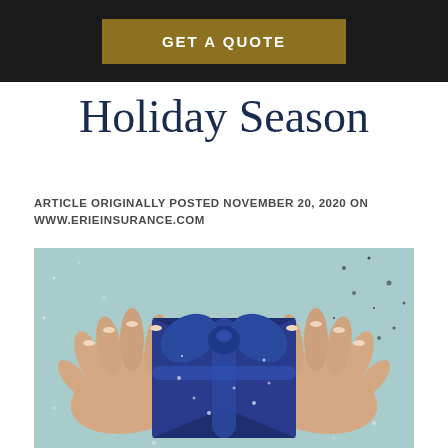GET A QUOTE
Holiday Season
ARTICLE ORIGINALLY POSTED NOVEMBER 20, 2020 ON WWW.ERIEINSURANCE.COM
[Figure (photo): Hands holding a blue satin-wrapped gift box with a bow, on a light blue background with silver glitter confetti]